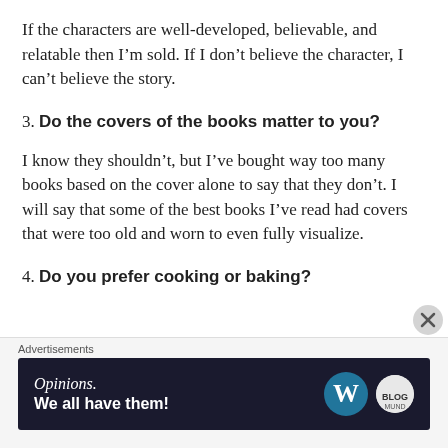If the characters are well-developed, believable, and relatable then I’m sold. If I don’t believe the character, I can’t believe the story.
3. Do the covers of the books matter to you?
I know they shouldn’t, but I’ve bought way too many books based on the cover alone to say that they don’t. I will say that some of the best books I’ve read had covers that were too old and worn to even fully visualize.
4. Do you prefer cooking or baking?
Advertisements — Opinions. We all have them!